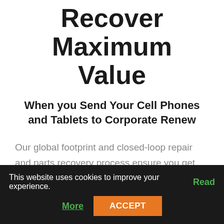Recover Maximum Value
When you Send Your Cell Phones and Tablets to Corporate Renew
Our global footprint and closed-loop repair and parts recovery process ensure you get the most value from your devices. Our powerful, custom portal makes the process easier for your employees, leading to greater participation and shortened
This website uses cookies to improve your experience. Read More ACCEPT